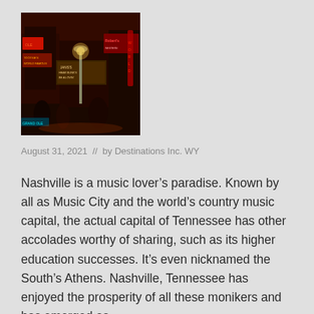[Figure (photo): Night street scene in Nashville with neon signs, a lamppost, and illuminated storefronts and venues including what appears to be honky-tonk bars on Broadway.]
August 31, 2021  //  by Destinations Inc. WY
Nashville is a music lover’s paradise. Known by all as Music City and the world’s country music capital, the actual capital of Tennessee has other accolades worthy of sharing, such as its higher education successes. It’s even nicknamed the South’s Athens. Nashville, Tennessee has enjoyed the prosperity of all these monikers and has emerged as …